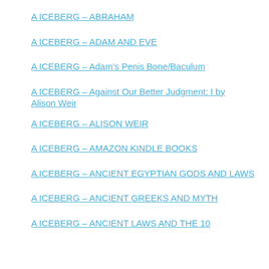A ICEBERG – ABRAHAM
A ICEBERG – ADAM AND EVE
A ICEBERG – Adam's Penis Bone/Baculum
A ICEBERG – Against Our Better Judgment: I by Alison Weir
A ICEBERG – ALISON WEIR
A ICEBERG – AMAZON KINDLE BOOKS
A ICEBERG – ANCIENT EGYPTIAN GODS AND LAWS
A ICEBERG – ANCIENT GREEKS AND MYTH
A ICEBERG – ANCIENT LAWS AND THE 10